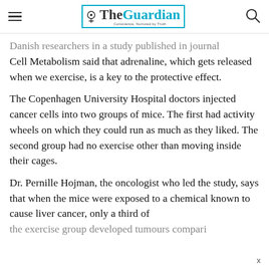The Guardian — Conscience, Nurtured by Truth
Danish researchers in a study published in journal Cell Metabolism said that adrenaline, which gets released when we exercise, is a key to the protective effect.
The Copenhagen University Hospital doctors injected cancer cells into two groups of mice. The first had activity wheels on which they could run as much as they liked. The second group had no exercise other than moving inside their cages.
Dr. Pernille Hojman, the oncologist who led the study, says that when the mice were exposed to a chemical known to cause liver cancer, only a third of the exercise group developed tumours compari...